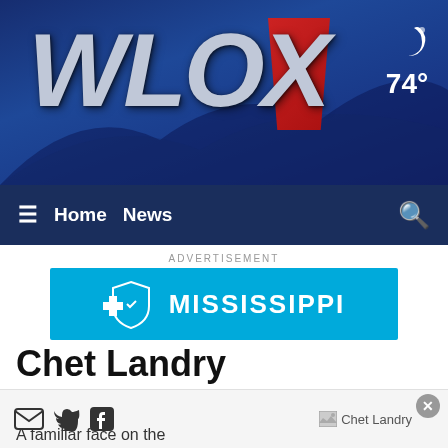[Figure (logo): WLOX TV station header banner with dark blue background, large italic silver WLOX logo text, red accent block, and weather icon showing 74 degrees]
≡  Home  News  🔍
ADVERTISEMENT
[Figure (logo): Blue Cross Blue Shield Mississippi advertisement banner with cyan background, BCBS logo icons, and MISSISSIPPI text in white]
Chet Landry
NEWS ANCHOR
Biloxi, MS
[Figure (other): Social media icons: envelope (email), Twitter bird, Facebook f]
[Figure (photo): Chet Landry photo placeholder]
A familiar face on the